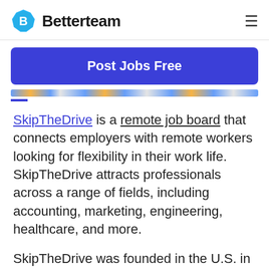Betterteam
Post Jobs Free
SkipTheDrive is a remote job board that connects employers with remote workers looking for flexibility in their work life. SkipTheDrive attracts professionals across a range of fields, including accounting, marketing, engineering, healthcare, and more.
SkipTheDrive was founded in the U.S. in 2013 and recruits freelancers